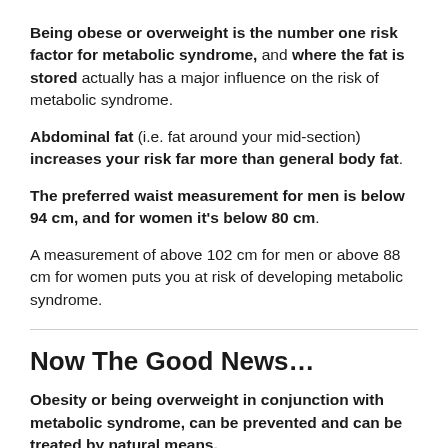Being obese or overweight is the number one risk factor for metabolic syndrome, and where the fat is stored actually has a major influence on the risk of metabolic syndrome.
Abdominal fat (i.e. fat around your mid-section) increases your risk far more than general body fat.
The preferred waist measurement for men is below 94 cm, and for women it's below 80 cm.
A measurement of above 102 cm for men or above 88 cm for women puts you at risk of developing metabolic syndrome.
Now The Good News…
Obesity or being overweight in conjunction with metabolic syndrome, can be prevented and can be treated by natural means.
If you think you may already have metabolic syndrome, it's not all bad news. Metabolic syndrome, like obesity is largely caused by diet and lifestyle, so there is a lot that can be done to remedy the condition, providing you address it early enough.